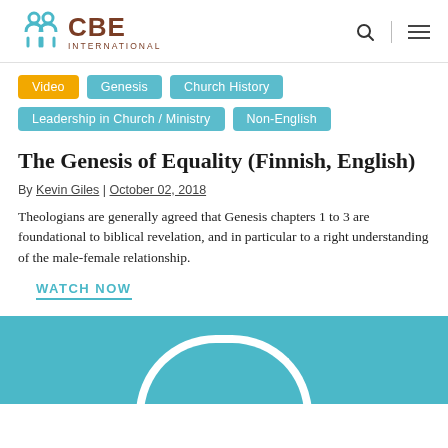[Figure (logo): CBE International logo with teal icon and brown text]
Video
Genesis
Church History
Leadership in Church / Ministry
Non-English
The Genesis of Equality (Finnish, English)
By Kevin Giles | October 02, 2018
Theologians are generally agreed that Genesis chapters 1 to 3 are foundational to biblical revelation, and in particular to a right understanding of the male-female relationship.
WATCH NOW
[Figure (screenshot): Teal background with white arch shape — video thumbnail]